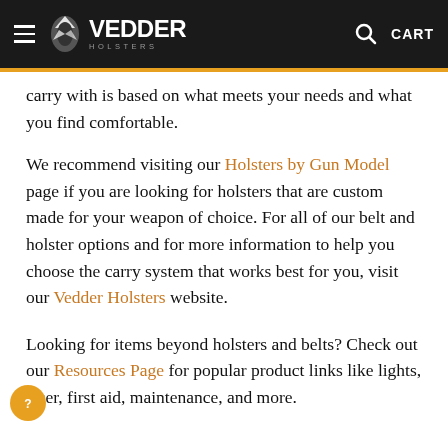Vedder Holsters — CART
carry with is based on what meets your needs and what you find comfortable.
We recommend visiting our Holsters by Gun Model page if you are looking for holsters that are custom made for your weapon of choice. For all of our belt and holster options and for more information to help you choose the carry system that works best for you, visit our Vedder Holsters website.
Looking for items beyond holsters and belts? Check out our Resources Page for popular product links like lights, laser, first aid, maintenance, and more.